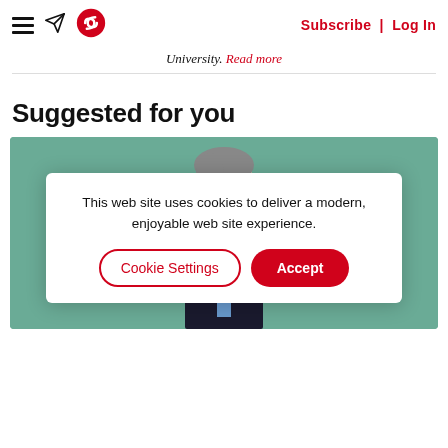Subscribe | Log In
University. Read more
Suggested for you
[Figure (photo): A person in a dark suit on a teal/green background, with a cookie consent overlay dialog.]
This web site uses cookies to deliver a modern, enjoyable web site experience.
Cookie Settings
Accept